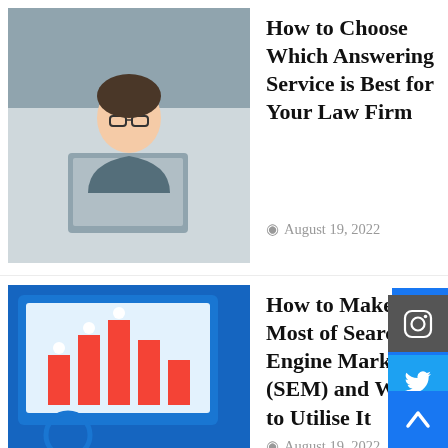[Figure (photo): Woman with glasses working on a laptop]
How to Choose Which Answering Service is Best for Your Law Firm
August 19, 2022
[Figure (illustration): Search Engine Marketing graphic with people on bar charts]
How to Make the Most of Search Engine Marketing (SEM) and When to Utilise It
August 19, 2022
[Figure (photo): Blank/grey placeholder image]
BlackRock, Google and Morgan Stanley Investing Billions Into Blockchain and Crypto Technology: Report
August 18, 2022
[Figure (photo): Woman portrait, partially visible]
Stop Talking About the Bubble